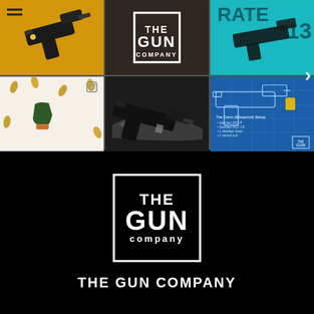[Figure (photo): Instagram-style photo grid showing 6 gun/firearms product images from The Gun Company. Top row: pistol on yellow background, The Gun Company logo, teal-colored gun advertisement. Bottom row: green trigger component on white background with brass casings, black 1911-style pistol with sneakers, blue blueprint-style gun diagram.]
[Figure (logo): The Gun Company logo in white on black background - boxed logo with THE / GUN / company text]
THE GUN COMPANY